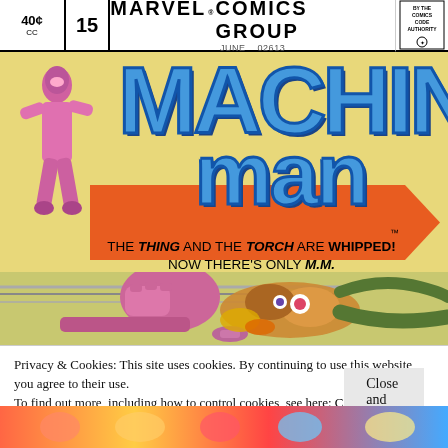[Figure (illustration): Marvel Comics Group Machine Man #15 comic book cover. Price 40¢, issue 15, June. Features 'MACHINE MAN' title in large blue letters on orange arrow background. Pink-suited superhero figure on left. Tagline reads 'THE THING AND THE TORCH ARE WHIPPED! NOW THERE'S ONLY M.M.' Action scene with fist punch and colorful alien figure below. Comics Code Authority seal top right.]
Privacy & Cookies: This site uses cookies. By continuing to use this website, you agree to their use.
To find out more, including how to control cookies, see here: Cookie Policy
Close and accept